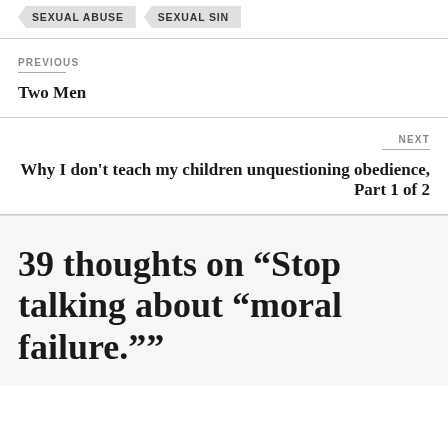SEXUAL ABUSE
SEXUAL SIN
PREVIOUS
Two Men
NEXT
Why I don't teach my children unquestioning obedience, Part 1 of 2
39 thoughts on “Stop talking about “moral failure.””